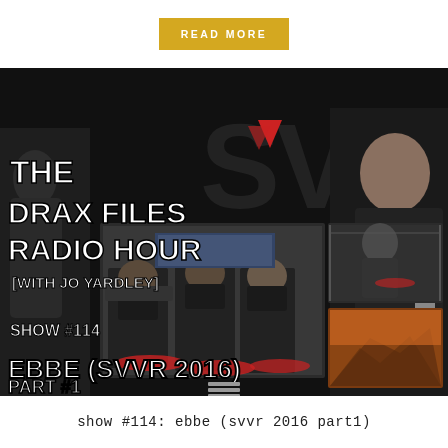READ MORE
[Figure (photo): Promotional thumbnail image for 'The Drax Files Radio Hour with Jo Yardley', Show #114: Ebbe (SVVR 2016) Part #1. Dark background with SVVR logo, text overlay, and inset photos of people using VR headsets at a conference booth, plus a man in black shirt holding a controller.]
show #114: ebbe (svvr 2016 part1)